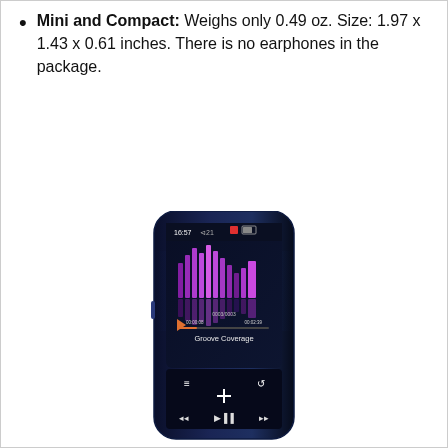Mini and Compact: Weighs only 0.49 oz. Size: 1.97 x 1.43 x 0.61 inches. There is no earphones in the package.
[Figure (photo): Product photo of a small MP3 player with a dark body and a touchscreen display showing a music visualizer waveform in purple/pink, with track info 'Groove Coverage', playback controls, and a dark metallic finish.]